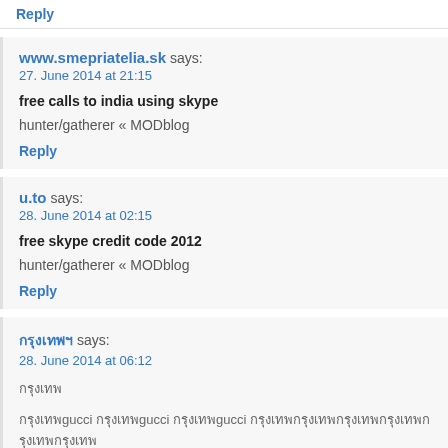Reply
www.smepriatelia.sk says:
27. June 2014 at 21:15
free calls to india using skype
hunter/gatherer « MODblog
Reply
u.to says:
28. June 2014 at 02:15
free skype credit code 2012
hunter/gatherer « MODblog
Reply
กรุงเทพฯ says:
28. June 2014 at 06:12
กรุงเทพ
กรุงเทพgucci กรุงเทพgucci กรุงเทพgucci กรุงเทพ
Reply